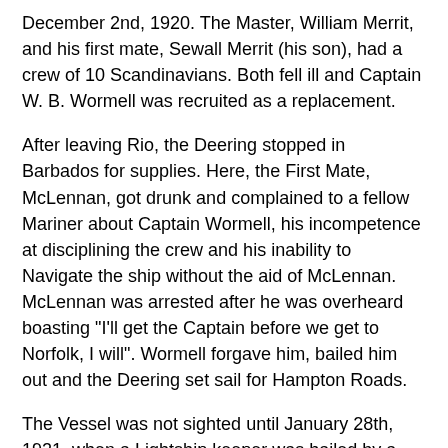December 2nd, 1920. The Master, William Merrit, and his first mate, Sewall Merrit (his son), had a crew of 10 Scandinavians. Both fell ill and Captain W. B. Wormell was recruited as a replacement.
After leaving Rio, the Deering stopped in Barbados for supplies. Here, the First Mate, McLennan, got drunk and complained to a fellow Mariner about Captain Wormell, his incompetence at disciplining the crew and his inability to Navigate the ship without the aid of McLennan. McLennan was arrested after he was overheard boasting "I'll get the Captain before we get to Norfolk, I will". Wormell forgave him, bailed him out and the Deering set sail for Hampton Roads.
The Vessel was not sighted until January 28th, 1921, when a Lightship keeper was hailed by a red haired man milling around on the foredeck. The man told the Lightship keeper, in a foreign accent, that the Deering had lost her anchors, but the Keeper was unable to relay the message due to a malfunctioning radio.
3 days later, on January 31st, the Deering was found aground on Diamond Shoals, off Cape Hatteras. Boarding of the ship was delayed due to bad weather and eventually rescue personal made it on to the vessel on February 4th. What they